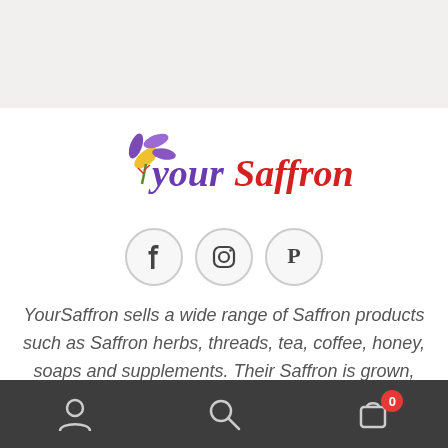[Figure (logo): YourSaffron logo with purple flower and mixed purple/red italic text]
[Figure (infographic): Three social media icon circles: Facebook, Instagram, Pinterest]
YourSaffron sells a wide range of Saffron products such as Saffron herbs, threads, tea, coffee, honey, soaps and supplements. Their Saffron is grown, processed and packaged in Iran. The Saffron handpicked and dried using traditional Persian methods ensuring potent and fresh produce. The health benefits Saffron has to offer are second to none and that's why we want to share the
Bottom navigation bar with user, search, and cart (0) icons